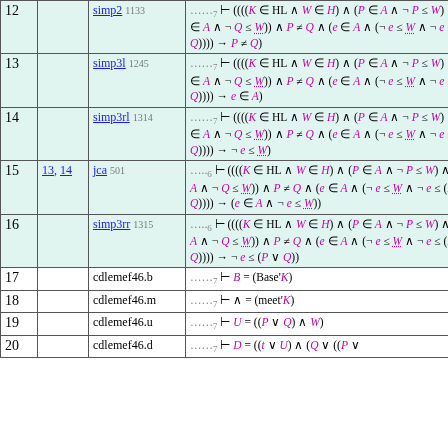| # | Refs | Rule | Formula |
| --- | --- | --- | --- |
| 12 |  | simp2 1133 | ……7 ⊢ ((((K ∈ HL ∧ W ∈ H) ∧ (P ∈ A ∧ ¬ P ≤ W) ∧ (Q ∈ A ∧ ¬ Q ≤ W)) ∧ P ≠ Q ∧ (e ∈ A ∧ (¬ e ≤ W̲ ∧ ¬ e ≤ (P ∨ Q)))) → P ≠ Q |
| 13 |  | simp3l 1245 | ……7 ⊢ ((((K ∈ HL ∧ W ∈ H) ∧ (P ∈ A ∧ ¬ P ≤ W) ∧ (Q ∈ A ∧ ¬ Q ≤ W)) ∧ P ≠ Q ∧ (e ∈ A ∧ (¬ e ≤ W̲ ∧ ¬ e ≤ (P ∨ Q)))) → e ∈ A |
| 14 |  | simp3rl 1314 | ……7 ⊢ ((((K ∈ HL ∧ W ∈ H) ∧ (P ∈ A ∧ ¬ P ≤ W) ∧ (Q ∈ A ∧ ¬ Q ≤ W)) ∧ P ≠ Q ∧ (e ∈ A ∧ (¬ e ≤ W̲ ∧ ¬ e ≤ (P ∨ Q)))) → ¬ e ≤ W̲ |
| 15 | 13, 14 | jca 501 | …..6 ⊢ ((((K ∈ HL ∧ W ∈ H) ∧ (P ∈ A ∧ ¬ P ≤ W) ∧ (Q ∈ A ∧ ¬ Q ≤ W)) ∧ P ≠ Q ∧ (e ∈ A ∧ (¬ e ≤ W̲ ∧ ¬ e ≤ (P ∨ Q)))) → (e ∈ A ∧ ¬ e ≤ W) |
| 16 |  | simp3rr 1315 | …..6 ⊢ ((((K ∈ HL ∧ W ∈ H) ∧ (P ∈ A ∧ ¬ P ≤ W) ∧ (Q ∈ A ∧ ¬ Q ≤ W)) ∧ P ≠ Q ∧ (e ∈ A ∧ (¬ e ≤ W̲ ∧ ¬ e ≤ (P ∨ Q)))) → ¬ e ≤ (P ∨ Q) |
| 17 |  | cdlemef46.b | ……7 ⊢ B = (Base'K) |
| 18 |  | cdlemef46.m | ……7 ⊢ ∧ = (meet'K) |
| 19 |  | cdlemef46.u | ……7 ⊢ U = ((P ∨ Q) ∧ W) |
| 20 |  | cdlemef46.d | ……7 ⊢ D = ((t ∨ U) ∧ (Q ∨ ((P ∨ |